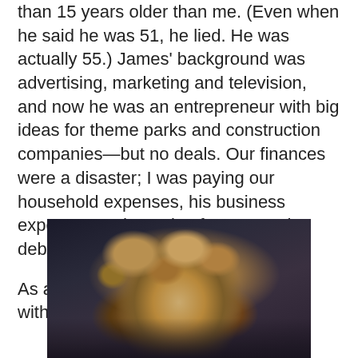than 15 years older than me. (Even when he said he was 51, he lied. He was actually 55.) James' background was advertising, marketing and television, and now he was an entrepreneur with big ideas for theme parks and construction companies—but no deals. Our finances were a disaster; I was paying our household expenses, his business expenses and carrying far too much debt. I was severely stressed.
As always, Elaine listened quietly, without judgment.
[Figure (photo): A photograph showing a person with curly brown/golden hair, shot in low light with dark background, only the top of the head and curly hair clearly visible.]